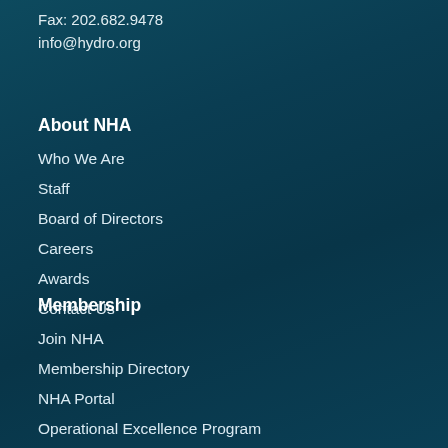Fax: 202.682.9478
info@hydro.org
About NHA
Who We Are
Staff
Board of Directors
Careers
Awards
Contact Us
Membership
Join NHA
Membership Directory
NHA Portal
Operational Excellence Program